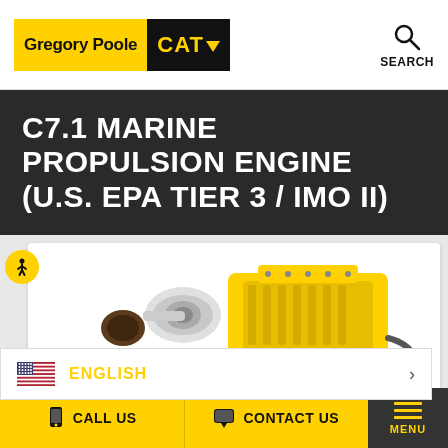[Figure (logo): Gregory Poole CAT logo in header bar with yellow background for Gregory Poole text and black background for CAT with yellow triangle]
[Figure (other): Search icon (magnifying glass) with SEARCH label in upper right header]
C7.1 MARINE PROPULSION ENGINE (U.S. EPA TIER 3 / IMO II)
[Figure (photo): CAT C7.1 marine propulsion engine photograph showing yellow engine block with turbocharger, air filter, and various hoses and components on white background]
ENGLISH
CALL US   CONTACT US   MENU